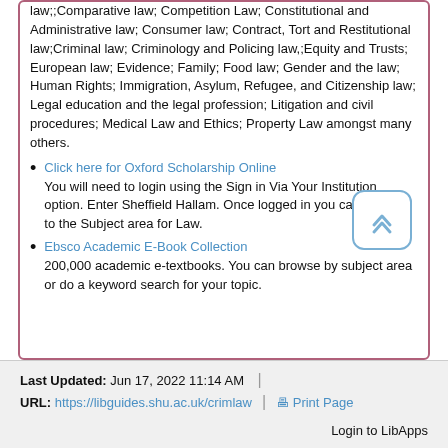law;;Comparative law; Competition Law; Constitutional and Administrative law; Consumer law; Contract, Tort and Restitutional law;Criminal law; Criminology and Policing law,;Equity and Trusts; European law; Evidence; Family; Food law; Gender and the law; Human Rights; Immigration, Asylum, Refugee, and Citizenship law; Legal education and the legal profession; Litigation and civil procedures; Medical Law and Ethics; Property Law amongst many others.
Click here for Oxford Scholarship Online
You will need to login using the Sign in Via Your Institution option. Enter Sheffield Hallam. Once logged in you can browse to the Subject area for Law.
Ebsco Academic E-Book Collection
200,000 academic e-textbooks. You can browse by subject area or do a keyword search for your topic.
Last Updated: Jun 17, 2022 11:14 AM | URL: https://libguides.shu.ac.uk/crimlaw | Print Page
Login to LibApps